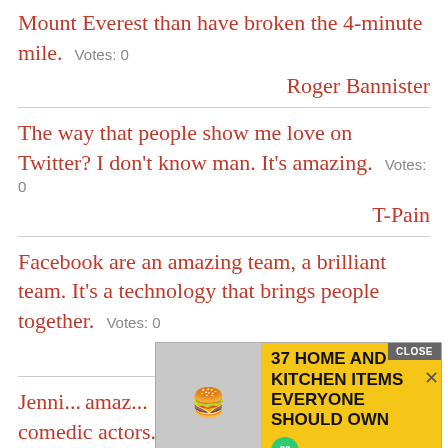Mount Everest than have broken the 4-minute mile.   Votes: 0
Roger Bannister
The way that people show me love on Twitter? I don't know man. It's amazing.   Votes: 0
T-Pain
Facebook are an amazing team, a brilliant team. It's a technology that brings people together.   Votes: 0
Bono
Jenni... amaz... comedic actors.   Votes: 0
[Figure (screenshot): Advertisement overlay: '37 HOME AND KITCHEN ITEMS EVERYONE SHOULD OWN' with a food image and a close button]